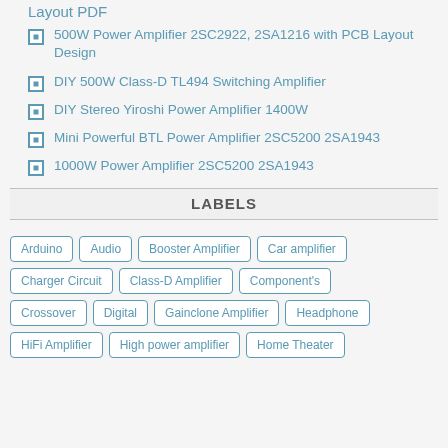Layout PDF
500W Power Amplifier 2SC2922, 2SA1216 with PCB Layout Design
DIY 500W Class-D TL494 Switching Amplifier
DIY Stereo Yiroshi Power Amplifier 1400W
Mini Powerful BTL Power Amplifier 2SC5200 2SA1943
1000W Power Amplifier 2SC5200 2SA1943
LABELS
Arduino
Audio
Booster Amplifier
Car amplifier
Charger Circuit
Class-D Amplifier
Component's
Crossover
Digital
Gainclone Amplifier
Headphone
HiFi Amplifier
High power amplifier
Home Theater